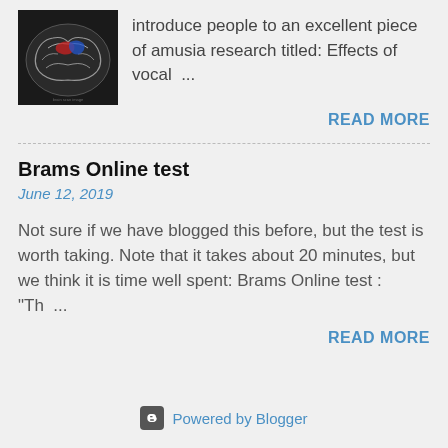[Figure (photo): Brain scan MRI image with colored regions highlighted, black background]
introduce people to an excellent piece of amusia research titled: Effects of vocal ...
READ MORE
Brams Online test
June 12, 2019
Not sure if we have blogged this before, but the test is worth taking. Note that it takes about 20 minutes, but we think it is time well spent: Brams Online test : "Th ...
READ MORE
Powered by Blogger